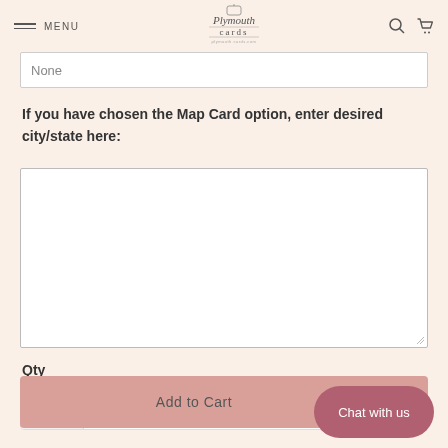MENU | Plymouth Cards
None
If you have chosen the Map Card option, enter desired city/state here:
Qty
1
Add to Cart
Chat with us